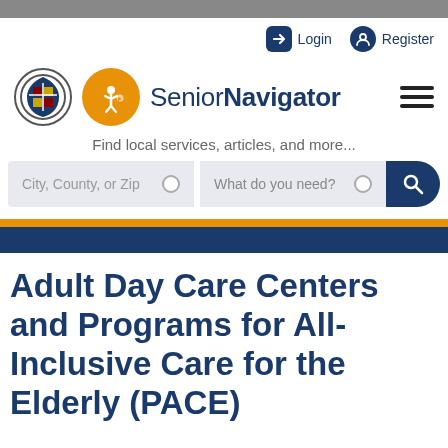Senior Navigator
Login  Register
Find local services, articles, and more...
City, County, or Zip   What do you need?
Adult Day Care Centers and Programs for All-Inclusive Care for the Elderly (PACE)